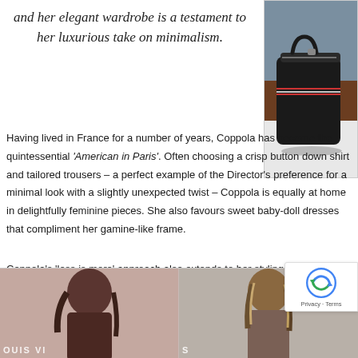and her elegant wardrobe is a testament to her luxurious take on minimalism.
[Figure (photo): Photo of a black leather bag on a light surface with blue couch background (top right)]
Having lived in France for a number of years, Coppola has become the quintessential 'American in Paris'. Often choosing a crisp button down shirt and tailored trousers – a perfect example of the Director's preference for a minimal look with a slightly unexpected twist – Coppola is equally at home in delightfully feminine pieces. She also favours sweet baby-doll dresses that compliment her gamine-like frame.
Coppola's 'less is more' approach also extends to her styling. With loose natural hair and a muted palette; her confidence and effortless style is ever radiant.
[Figure (photo): Bottom section with two photos of women, left photo with Louis Vuitton text overlay, right photo of woman with highlighted hair]